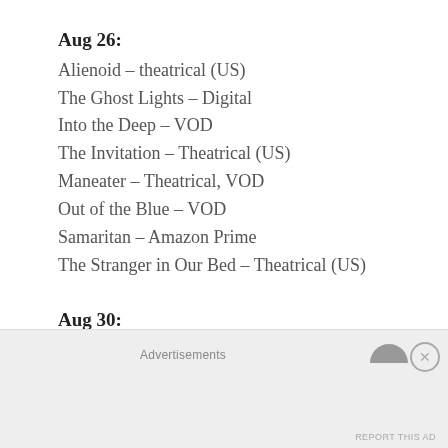Aug 26:
Alienoid – theatrical (US)
The Ghost Lights – Digital
Into the Deep – VOD
The Invitation – Theatrical (US)
Maneater – Theatrical, VOD
Out of the Blue – VOD
Samaritan – Amazon Prime
The Stranger in Our Bed – Theatrical (US)
Aug 30:
The Gravedigger – DVD and VOD
Sept 2:
All Eyes – Theatrical, VOD
Advertisements